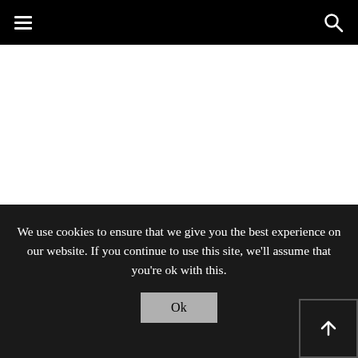Navigation bar with hamburger menu and search icon
We use cookies to ensure that we give you the best experience on our website. If you continue to use this site, we'll assume that you're ok with this.
Ok